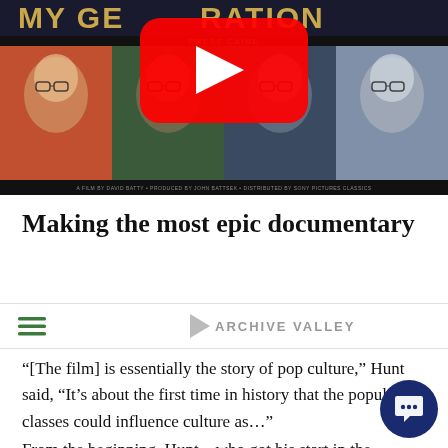[Figure (photo): Movie poster for 'My Generation' presented by Michael Caine, showing four colorized portrait panels of a man wearing glasses, with a YouTube play button overlay in the center and small credits text at the bottom]
Making the most epic documentary
[Figure (logo): Archive Valley navigation bar with hamburger menu icon on left and Archive Valley logo (triangle play icon + text) in center]
“[The film] is essentially the story of pop culture,” Hunt said, “It’s about the first time in history that the popular classes could influence culture as…”
From the beginning, Hunt – who got his start in the